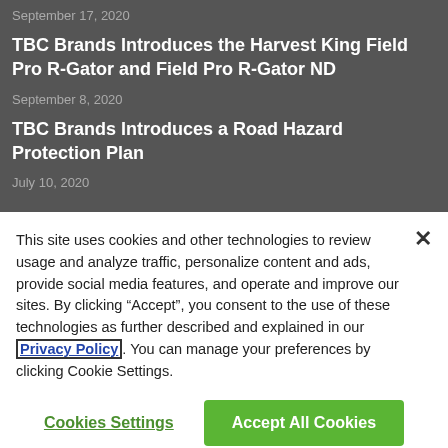September 17, 2020
TBC Brands Introduces the Harvest King Field Pro R-Gator and Field Pro R-Gator ND
September 8, 2020
TBC Brands Introduces a Road Hazard Protection Plan
July 10, 2020
This site uses cookies and other technologies to review usage and analyze traffic, personalize content and ads, provide social media features, and operate and improve our sites. By clicking “Accept”, you consent to the use of these technologies as further described and explained in our Privacy Policy. You can manage your preferences by clicking Cookie Settings.
Cookies Settings
Accept All Cookies